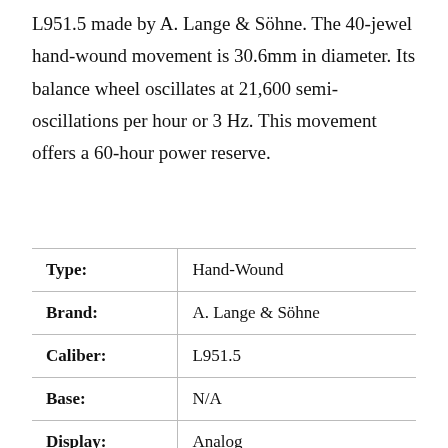L951.5 made by A. Lange & Söhne. The 40-jewel hand-wound movement is 30.6mm in diameter. Its balance wheel oscillates at 21,600 semi-oscillations per hour or 3 Hz. This movement offers a 60-hour power reserve.
|  |  |
| --- | --- |
| Type: | Hand-Wound |
| Brand: | A. Lange & Söhne |
| Caliber: | L951.5 |
| Base: | N/A |
| Display: | Analog |
| Diameter: | 30.6mm |